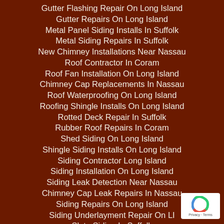Gutter Flashing Repair On Long Island
Gutter Repairs On Long Island
Metal Panel Siding Installs In Suffolk
Metal Siding Repairs In Suffolk
New Chimney Installations Near Nassau
Roof Contractor In Coram
Roof Fan Installation On Long Island
Chimney Cap Replacements In Nassau
Roof Waterproofing On Long Island
Roofing Shingle Installs On Long Island
Rotted Deck Repair In Suffolk
Rubber Roof Repairs In Coram
Shed Siding On Long Island
Shingle Siding Installs On Long Island
Siding Contractor Long Island
Siding Installation On Long Island
Siding Leak Detection Near Nassau
Chimney Cap Leak Repairs In Nassau
Siding Repairs On Long Island
Siding Underlayment Repair On LI
Slate Siding In Suffolk
Soffit Repairs On Long Island
Storm Problem Repair In Suffolk